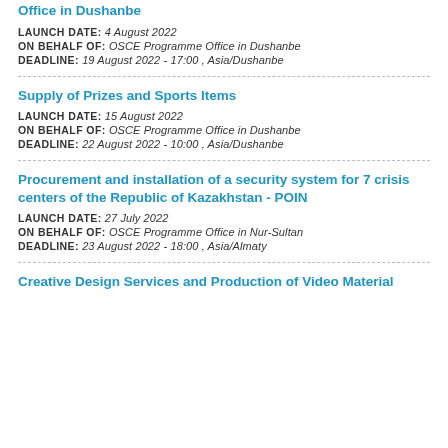Office in Dushanbe
LAUNCH DATE: 4 August 2022
ON BEHALF OF: OSCE Programme Office in Dushanbe
DEADLINE: 19 August 2022 - 17:00 , Asia/Dushanbe
Supply of Prizes and Sports Items
LAUNCH DATE: 15 August 2022
ON BEHALF OF: OSCE Programme Office in Dushanbe
DEADLINE: 22 August 2022 - 10:00 , Asia/Dushanbe
Procurement and installation of a security system for 7 crisis centers of the Republic of Kazakhstan - POIN
LAUNCH DATE: 27 July 2022
ON BEHALF OF: OSCE Programme Office in Nur-Sultan
DEADLINE: 23 August 2022 - 18:00 , Asia/Almaty
Creative Design Services and Production of Video Material